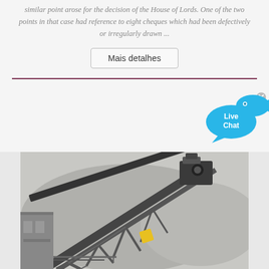similar point arose for the decision of the House of Lords. One of the two points in that case had reference to eight cheques which had been defectively or irregularly drawn ...
Mais detalhes
[Figure (illustration): Live Chat button with blue speech bubble and fish icon, with an X close button]
[Figure (photo): Industrial conveyor belt structure with machinery on top, scaffolding, and misty mountains in background]